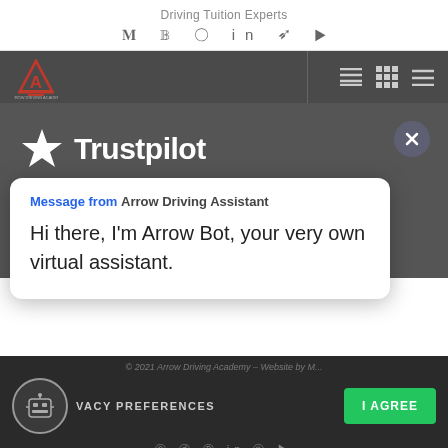Driving Tuition Experts
[Figure (logo): Arrow Driving Academy logo - red triangle with letter A]
[Figure (screenshot): Trustpilot logo with white star and white text on dark background with close X button]
Message from Arrow Driving Assistant
Hi there, I'm Arrow Bot, your very own virtual assistant.
© 2021 Arrow Driving Academy – Website by M...
VACY PREFERENCES
I AGREE